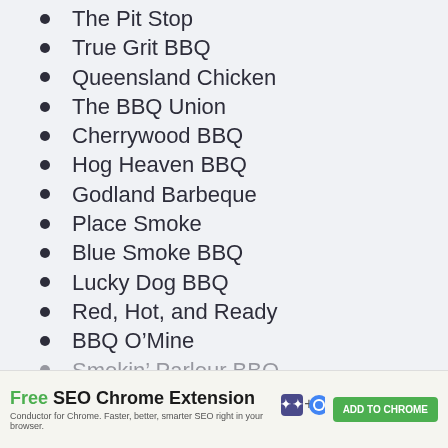The Pit Stop
True Grit BBQ
Queensland Chicken
The BBQ Union
Cherrywood BBQ
Hog Heaven BBQ
Godland Barbeque
Place Smoke
Blue Smoke BBQ
Lucky Dog BBQ
Red, Hot, and Ready
BBQ O’Mine
Smokin’ Parlour BBQ
[Figure (screenshot): Ad banner: Free SEO Chrome Extension by Conductor for Chrome. Add to Chrome button.]